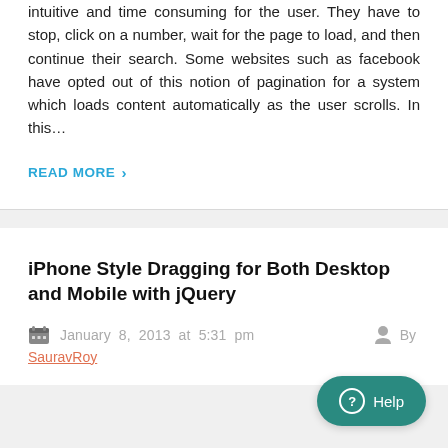Pagination with numbers is, in many ways, counter intuitive and time consuming for the user. They have to stop, click on a number, wait for the page to load, and then continue their search. Some websites such as facebook have opted out of this notion of pagination for a system which loads content automatically as the user scrolls. In this…
READ MORE ›
iPhone Style Dragging for Both Desktop and Mobile with jQuery
January 8, 2013 at 5:31 pm   By SauravRoy